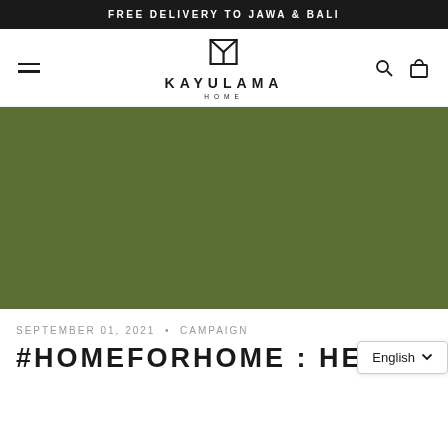FREE DELIVERY TO JAWA & BALI
[Figure (logo): Kayulama Home logo with stylized KL monogram icon above text KAYULAMA HOME]
[Figure (photo): Large olive/dark green hero image banner]
SEPTEMBER 01, 2021 • CAMPAIGN
#HOMEFORHOME : HE